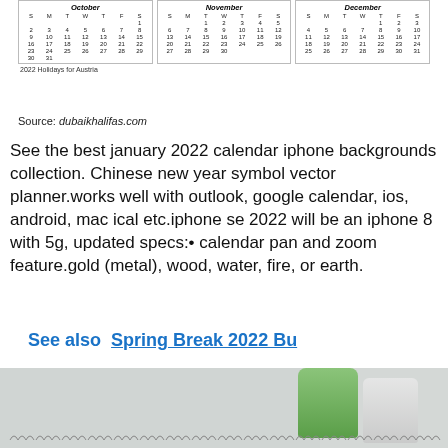[Figure (other): Three monthly calendars for October, November, December 2022 showing Austria holidays. Certain dates are highlighted in red.]
2022 Holidays for Austria
Source: dubaikhalifas.com
See the best january 2022 calendar iphone backgrounds collection. Chinese new year symbol vector planner.works well with outlook, google calendar, ios, android, mac ical etc.iphone se 2022 will be an iphone 8 with 5g, updated specs:• calendar pan and zoom feature.gold (metal), wood, water, fire, or earth.
See also  Spring Break 2022 Bu
[Figure (photo): Photo of a calendar with spiral binding and green/white bottles in background]